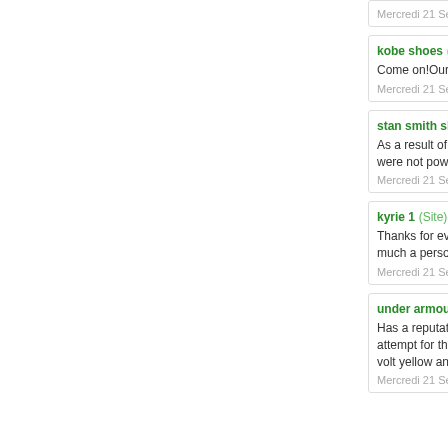kobe shoes (Site) d…
Come on!Our friend…
Mercredi 21 Septembre…
stan smith shoes (…
As a result of lookin… were not powerful, b…
Mercredi 21 Septembre…
kyrie 1 (Site) dit:
Thanks for every on… much a person like …
Mercredi 21 Septembre…
under armour shoe…
Has a reputation for… attempt for this quar… volt yellow and a bit…
Mercredi 21 Septembre…